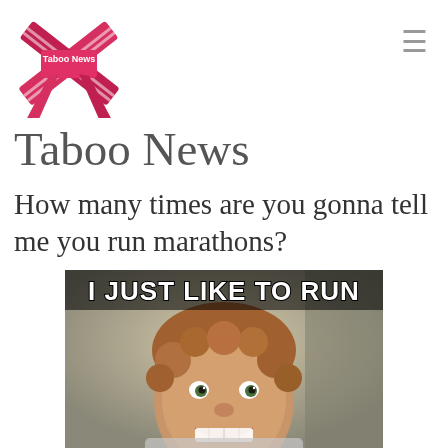[Figure (logo): Taboo News logo: UK flag styled as ribbons/bow with pink/red color and 'Taboo News' text overlay]
Taboo News
How many times are you gonna tell me you run marathons?
[Figure (photo): Meme image of a smiling man with curly hair and text 'I JUST LIKE TO RUN' in bold white letters with black outline at the top]